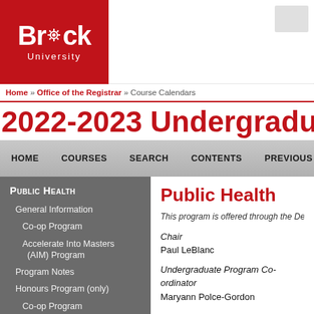[Figure (logo): Brock University logo — white text on red background with gear icon]
Home » Office of the Registrar » Course Calendars
2022-2023 Undergraduate Calendar
HOME   COURSES   SEARCH   CONTENTS   PREVIOUS PAGE
Public Health
General Information
Co-op Program
Accelerate Into Masters (AIM) Program
Program Notes
Honours Program (only)
Co-op Program
Public Health
This program is offered through the Department…
Chair
Paul LeBlanc
Undergraduate Program Co-ordinator
Maryann Polce-Gordon